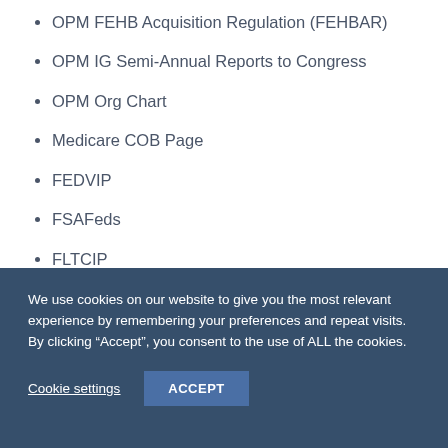OPM FEHB Acquisition Regulation (FEHBAR)
OPM IG Semi-Annual Reports to Congress
OPM Org Chart
Medicare COB Page
FEDVIP
FSAFeds
FLTCIP
We use cookies on our website to give you the most relevant experience by remembering your preferences and repeat visits. By clicking “Accept”, you consent to the use of ALL the cookies.
Cookie settings  ACCEPT